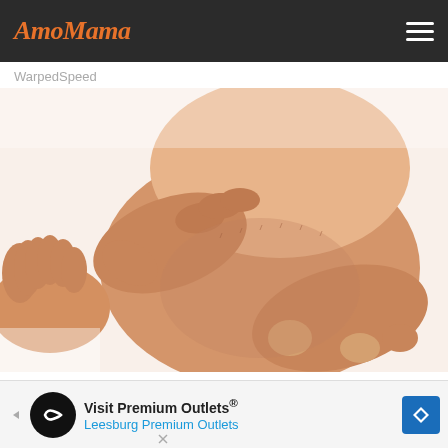AmoMama
WarpedSpeed
[Figure (photo): Close-up photo of hands squeezing/massaging a person's lower leg and ankle area against a white background, showing swollen or puffy leg tissue being pressed by fingers]
Warning Signs of Amyloidosis Shouldn't Be
Visit Premium Outlets® Leesburg Premium Outlets